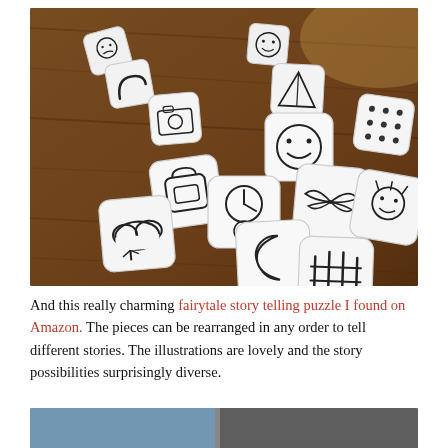[Figure (photo): A photograph of multiple white story dice with black illustrated icons (clock, moon, fence, smiley face, camera, tent, crescent, etc.) scattered on a wooden table surface.]
And this really charming fairytale story telling puzzle I found on Amazon. The pieces can be rearranged in any order to tell different stories. The illustrations are lovely and the story possibilities surprisingly diverse.
[Figure (photo): Partial photo at bottom of page showing people, partially cropped.]